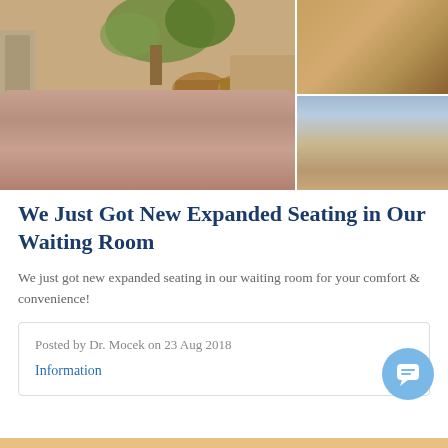[Figure (photo): Photo collage of waiting room areas: a large sofa/couch with cushions (left), a dining-style table with chairs (top right), and leather sofas in a bright space with large windows (bottom right)]
We Just Got New Expanded Seating in Our Waiting Room
We just got new expanded seating in our waiting room for your comfort & convenience!
Posted by Dr. Mocek on 23 Aug 2018
Information